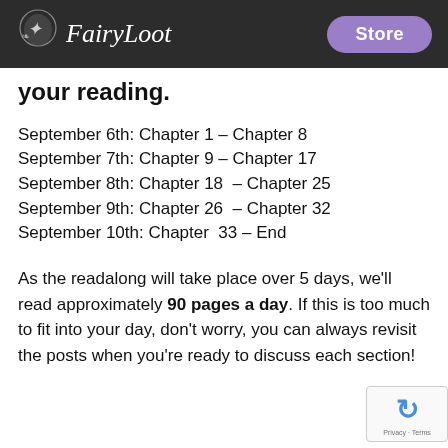FairyLoot | Store
your reading.
September 6th: Chapter 1 – Chapter 8
September 7th: Chapter 9 – Chapter 17
September 8th: Chapter 18  – Chapter 25
September 9th: Chapter 26  – Chapter 32
September 10th: Chapter  33 – End
As the readalong will take place over 5 days, we'll read approximately 90 pages a day. If this is too much to fit into your day, don't worry, you can always revisit the posts when you're ready to discuss each section!